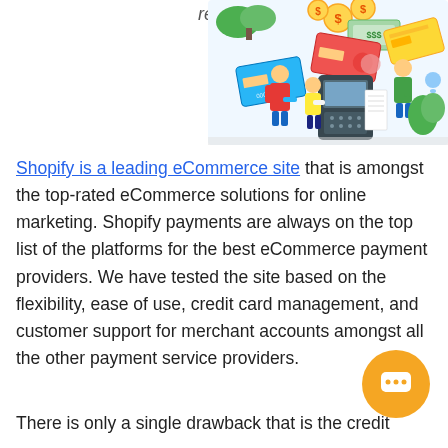review
[Figure (illustration): E-commerce illustration showing credit cards, dollar bills, a payment terminal, and people interacting with payment systems]
Shopify is a leading eCommerce site that is amongst the top-rated eCommerce solutions for online marketing. Shopify payments are always on the top list of the platforms for the best eCommerce payment providers. We have tested the site based on the flexibility, ease of use, credit card management, and customer support for merchant accounts amongst all the other payment service providers.
There is only a single drawback that is the credit